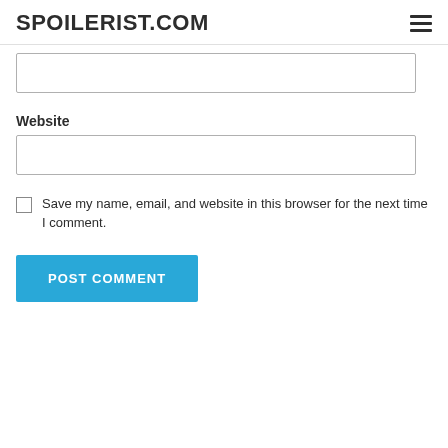SPOILERIST.COM
Website
Save my name, email, and website in this browser for the next time I comment.
POST COMMENT